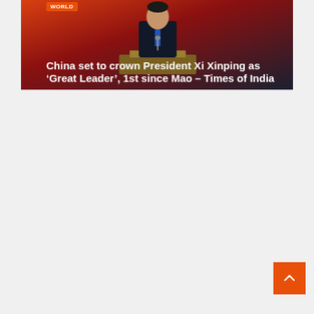[Figure (photo): Photo of a man (President Xi Jinping) in a dark suit with a blue tie, speaking at a podium against a reddish-orange background. An orange 'WORLD' tag is visible in the top-left corner of the image.]
China set to crown President Xi Xinping as ‘Great Leader’, 1st since Mao – Times of India